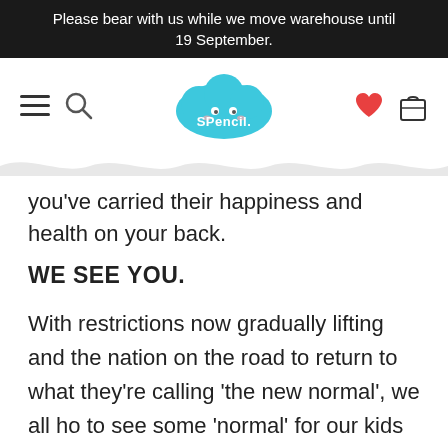Please bear with us while we move warehouse until 19 September.
[Figure (logo): Spencil logo - teal cloud shape with 'SPencil.' text and a cute face]
you’ve carried their happiness and health on your back.
WE SEE YOU.
With restrictions now gradually lifting and the nation on the road to return to what they’re calling ‘the new normal’, we all ho to see some ‘normal’ for our kids this year too. Our fingers and toes are crossed that